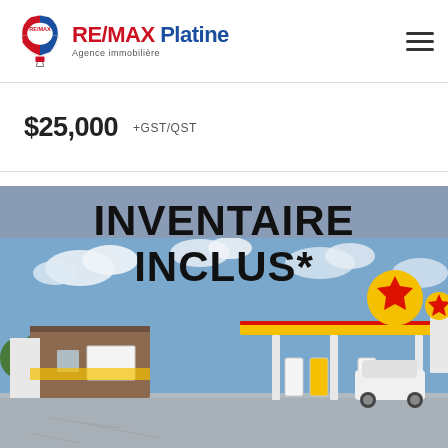RE/MAX Platine - Agence immobilière
$25,000 +GST/QST
[Figure (photo): Shell gas station exterior with canopy and convenience store; text overlay reads INVENTAIRE INCLUS*]
INVENTAIRE INCLUS*